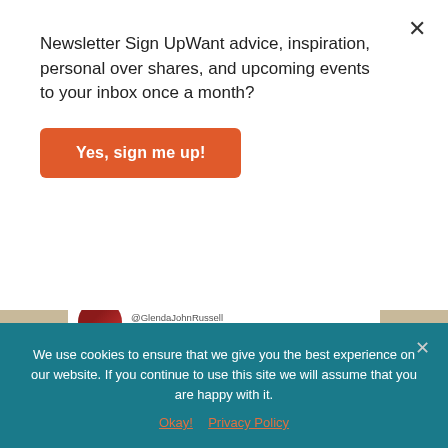Newsletter Sign UpWant advice, inspiration, personal over shares, and upcoming events to your inbox once a month?
[Figure (screenshot): Orange 'Yes, sign me up!' button for newsletter signup]
@GlendaJohnRussell
self-awareness + nature + consciousness
[Figure (photo): Beige/cream colored Instagram post image card with profile avatar partially visible at bottom]
We use cookies to ensure that we give you the best experience on our website. If you continue to use this site we will assume that you are happy with it.
Okay!   Privacy Policy